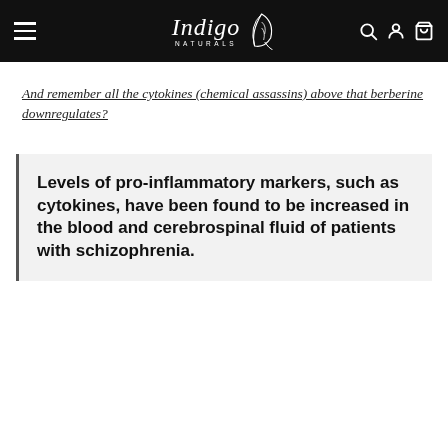Indigo Naturals
And remember all the cytokines (chemical assassins) above that berberine downregulates?
Levels of pro-inflammatory markers, such as cytokines, have been found to be increased in the blood and cerebrospinal fluid of patients with schizophrenia.